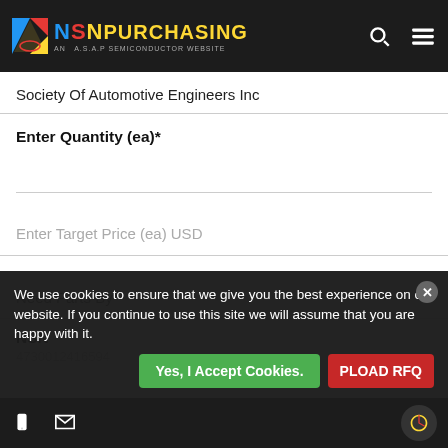NSN PURCHASING — AN A.S.A.P SEMICONDUCTOR WEBSITE
Society Of Automotive Engineers Inc
Enter Quantity (ea)*
Enter Target Price (ea) USD
Need Parts By*
NSN
4730012416594
We use cookies to ensure that we give you the best experience on our website. If you continue to use this site we will assume that you are happy with it.